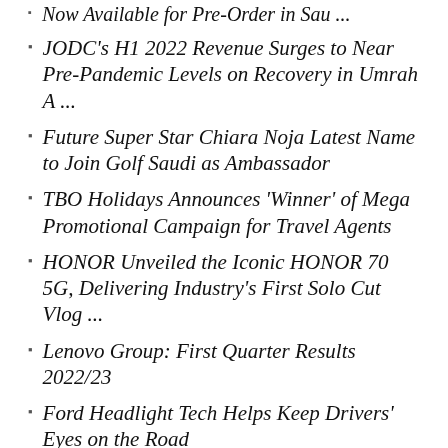Now Available for Pre-Order in Sau ...
JODC's H1 2022 Revenue Surges to Near Pre-Pandemic Levels on Recovery in Umrah A ...
Future Super Star Chiara Noja Latest Name to Join Golf Saudi as Ambassador
TBO Holidays Announces ‘Winner’ of Mega Promotional Campaign for Travel Agents
HONOR Unveiled the Iconic HONOR 70 5G, Delivering Industry’s First Solo Cut Vlog ...
Lenovo Group: First Quarter Results 2022/23
Ford Headlight Tech Helps Keep Drivers’ Eyes on the Road
[Figure (other): Social media icons: Dribbble, LinkedIn, Instagram, Twitter, and a scroll-to-top arrow in teal]
Copyright © 2017-2022  SaudiArabiaPR.com by Global